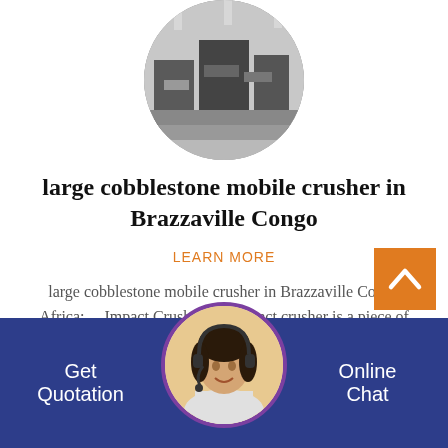[Figure (photo): Circular cropped photo of industrial machinery/warehouse interior with dark equipment visible]
large cobblestone mobile crusher in Brazzaville Congo
LEARN MORE
large cobblestone mobile crusher in Brazzaville Congo Africa; ... Impact Crusher. An impact crusher is a piece of heavy construction equipment people can use to...
[Figure (photo): Circular photo of a smiling woman wearing a headset, used as customer support avatar in footer]
Get Quotation   Online Chat